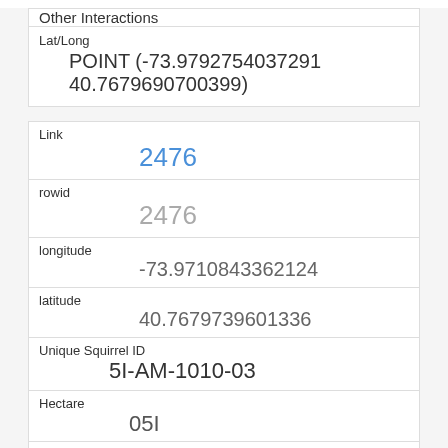| Other Interactions |  |
| Lat/Long | POINT (-73.9792754037291 40.7679690700399) |
| Link | 2476 |
| rowid | 2476 |
| longitude | -73.9710843362124 |
| latitude | 40.7679739601336 |
| Unique Squirrel ID | 5I-AM-1010-03 |
| Hectare | 05I |
| Shift | AM |
| Date |  |